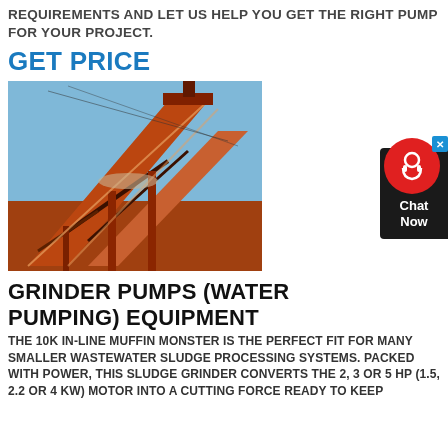REQUIREMENTS AND LET US HELP YOU GET THE RIGHT PUMP FOR YOUR PROJECT.
GET PRICE
[Figure (photo): Industrial orange conveyor belt / mining equipment structure against a blue sky]
GRINDER PUMPS (WATER PUMPING) EQUIPMENT
THE 10K IN-LINE MUFFIN MONSTER IS THE PERFECT FIT FOR MANY SMALLER WASTEWATER SLUDGE PROCESSING SYSTEMS. PACKED WITH POWER, THIS SLUDGE GRINDER CONVERTS THE 2, 3 OR 5 HP (1.5, 2.2 OR 4 KW) MOTOR INTO A CUTTING FORCE READY TO KEEP